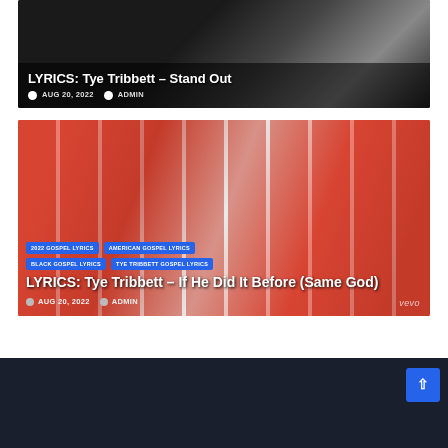[Figure (screenshot): Article card with dark background showing LYRICS: Tye Tribbett – Stand Out, dated AUG 20, 2022 by ADMIN]
LYRICS: Tye Tribbett – Stand Out
AUG 20, 2022  ADMIN
[Figure (screenshot): Article card with red/orange background showing LYRICS: Tye Tribbett – If He Did It Before (Same God), with tags 2022 GOSPEL LYRICS, AMERICAN GOSPEL LYRICS, BLACK GOSPEL LYRICS, TYE TRIBBETT GOSPEL LYRICS, dated AUG 20, 2022 by ADMIN, vevo watermark]
2022 GOSPEL LYRICS
AMERICAN GOSPEL LYRICS
BLACK GOSPEL LYRICS
TYE TRIBBETT GOSPEL LYRICS
LYRICS: Tye Tribbett – If He Did It Before (Same God)
AUG 20, 2022  ADMIN
vevo